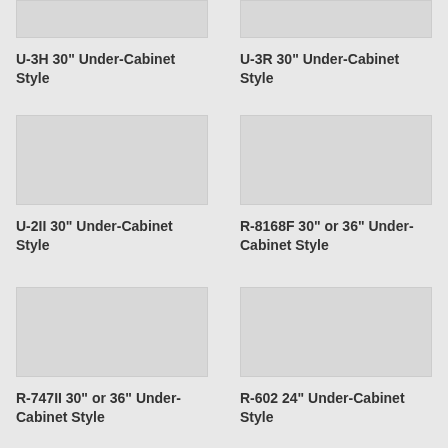[Figure (photo): Partial image of U-3H 30 Under-Cabinet Style hood, top cropped]
U-3H 30" Under-Cabinet Style
[Figure (photo): Partial image of U-3R 30 Under-Cabinet Style hood, top cropped]
U-3R 30" Under-Cabinet Style
[Figure (photo): Image of U-2II 30 Under-Cabinet Style hood]
U-2II 30" Under-Cabinet Style
[Figure (photo): Image of R-8168F 30 or 36 Under-Cabinet Style hood]
R-8168F 30" or 36" Under-Cabinet Style
[Figure (photo): Image of R-747II 30 or 36 Under-Cabinet Style hood]
R-747II 30" or 36" Under-Cabinet Style
[Figure (photo): Image of R-602 24 Under-Cabinet Style hood]
R-602 24" Under-Cabinet Style